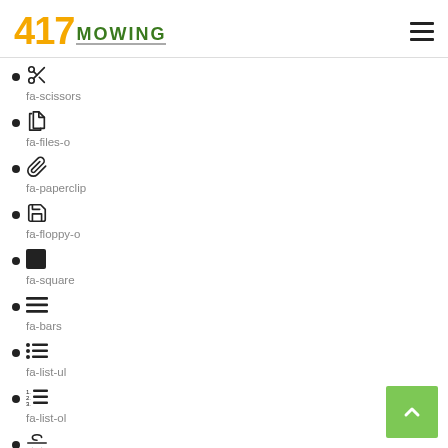417 MOWING
fa-scissors
fa-files-o
fa-paperclip
fa-floppy-o
fa-square
fa-bars
fa-list-ul
fa-list-ol
fa-strikethrough (partial)